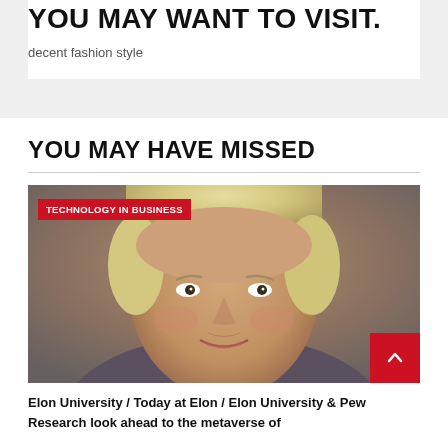YOU MAY WANT TO VISIT.
decent fashion style
YOU MAY HAVE MISSED
[Figure (photo): Close-up portrait of a smiling middle-aged woman with short blonde hair, with a red 'TECHNOLOGY IN BUSINESS' badge overlay in the top-left corner, and a red scroll-to-top button in the bottom-right corner.]
Elon University / Today at Elon / Elon University & Pew Research look ahead to the metaverse of